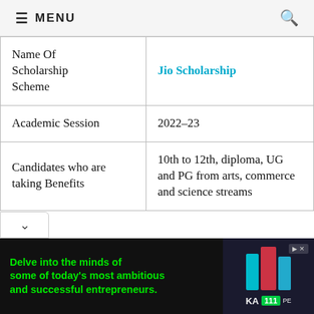≡ MENU
| Name Of Scholarship Scheme | Jio Scholarship |
| Academic Session | 2022-23 |
| Candidates who are taking Benefits | 10th to 12th, diploma, UG and PG from arts, commerce and science streams |
[Figure (photo): Advertisement banner: 'Delve into the minds of some of today's most ambitious and successful entrepreneurs.' with book cover imagery on dark background]